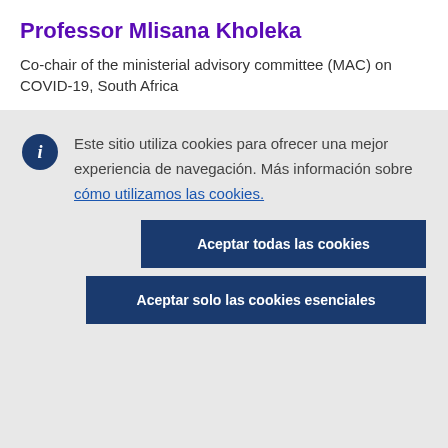Professor Mlisana Kholeka
Co-chair of the ministerial advisory committee (MAC) on COVID-19, South Africa
Este sitio utiliza cookies para ofrecer una mejor experiencia de navegación. Más información sobre cómo utilizamos las cookies.
Aceptar todas las cookies
Aceptar solo las cookies esenciales